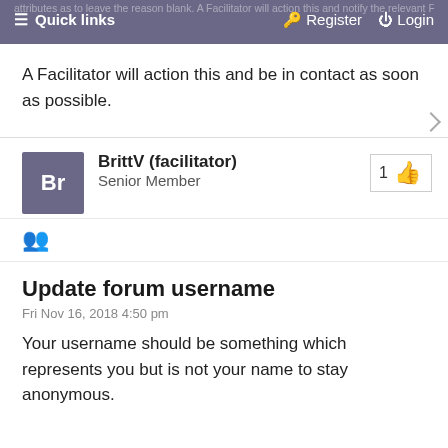Quick links | Register | Login
A Facilitator will action this and be in contact as soon as possible.
BrittV (facilitator)
Senior Member
1 👍
Update forum username
Fri Nov 16, 2018 4:50 pm
Your username should be something which represents you but is not your name to stay anonymous.